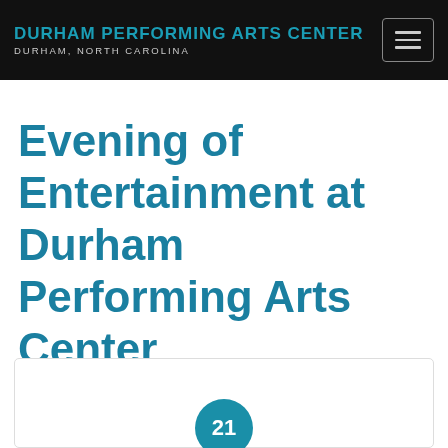DURHAM PERFORMING ARTS CENTER DURHAM, NORTH CAROLINA
Evening of Entertainment at Durham Performing Arts Center
[Figure (other): Card area with a teal circular badge showing the number 21]